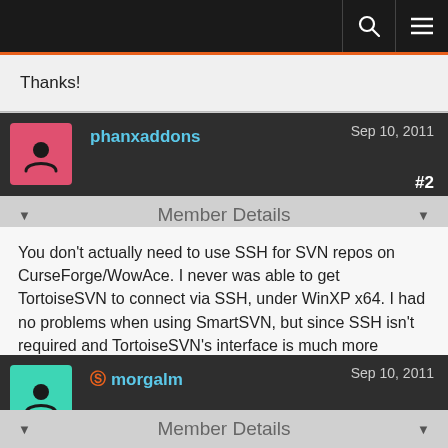Navigation bar with search and menu icons
Thanks!
phanxaddons  Sep 10, 2011  #2
Member Details
You don't actually need to use SSH for SVN repos on CurseForge/WowAce. I never was able to get TortoiseSVN to connect via SSH, under WinXP x64. I had no problems when using SmartSVN, but since SSH isn't required and TortoiseSVN's interface is much more convenient, I just don't bother.
morgalm  Sep 10, 2011  #3
Member Details